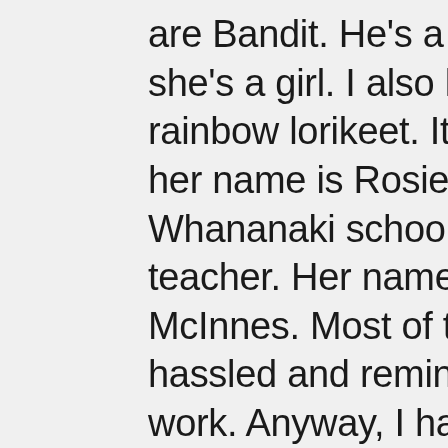are Bandit. He's a boy and Lou she's a girl. I also have a rainbow lorikeet. It's a girl and her name is Rosie. Also, I go to Whananaki school with a great teacher. Her name is Miss McInnes. Most of the time I'm hassled and reminded to do my work. Anyway, I have a great school with lots of friends and swings - a basket swing and two casual ones. I like Whananaki school because we play Bullrush and lots of